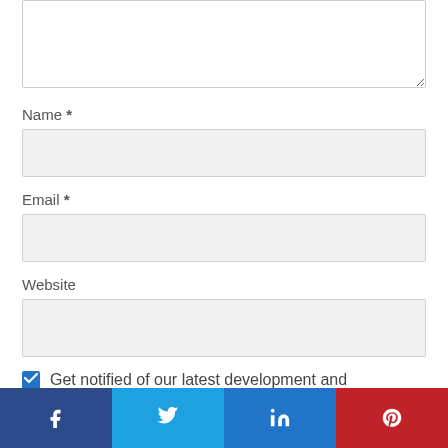[Figure (screenshot): Partial textarea (top of comment form) with resize handle at bottom right]
Name *
[Figure (screenshot): Name input field, light gray background]
Email *
[Figure (screenshot): Email input field, light gray background]
Website
[Figure (screenshot): Website input field, light gray background]
Get notified of our latest development and
[Figure (screenshot): Social share bar with Facebook, Twitter, LinkedIn, and Pinterest buttons]